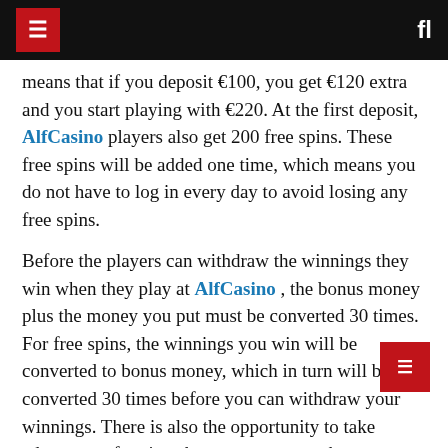AlfCasino navigation header
means that if you deposit €100, you get €120 extra and you start playing with €220. At the first deposit, AlfCasino players also get 200 free spins. These free spins will be added one time, which means you do not have to log in every day to avoid losing any free spins.
Before the players can withdraw the winnings they win when they play at AlfCasino , the bonus money plus the money you put must be converted 30 times. For free spins, the winnings you win will be converted to bonus money, which in turn will be converted 30 times before you can withdraw your winnings. There is also the opportunity to take advantage of various bonuses every week at AlfCasino , such as deposit bonuses and free spins. There is also a loyalty program where players get points every time they play at the casino. These points